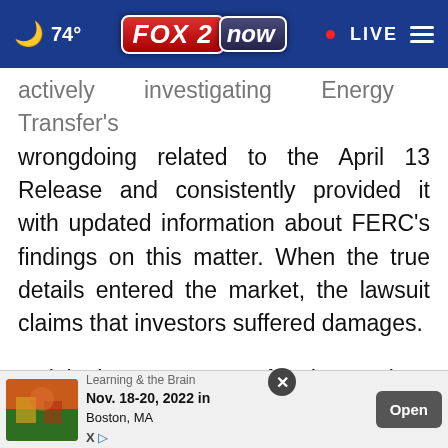☁ 74° FOX2now • LIVE ≡
actively investigating Energy Transfer's wrongdoing related to the April 13 Release and consistently provided it with updated information about FERC's findings on this matter. When the true details entered the market, the lawsuit claims that investors suffered damages.
To join the Energy Transfer class action, go to https://rosenlegal.com/submit-form/?case_id=6844 or … -767-3653 or email prim@rosenlegal.com or cases@r